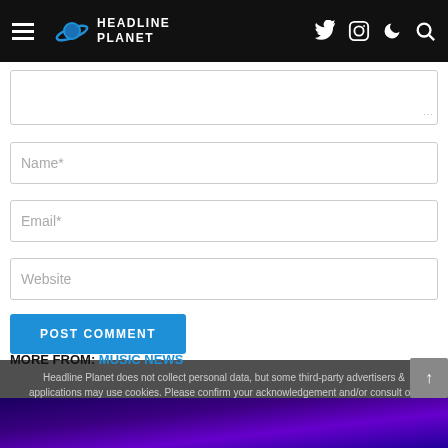HEADLINE PLANET
(textarea/comment box)
Name*
Email*
Website
POST COMMENT
Headline Planet does not collect personal data, but some third-party advertisers & applications may use cookies. Please confirm your acknowledgement and/or consult our privacy policy for details & opt-out options.
MORE FROM: MUSIC NEWS
[Figure (screenshot): Purple/blue gradient image strip at bottom of page]